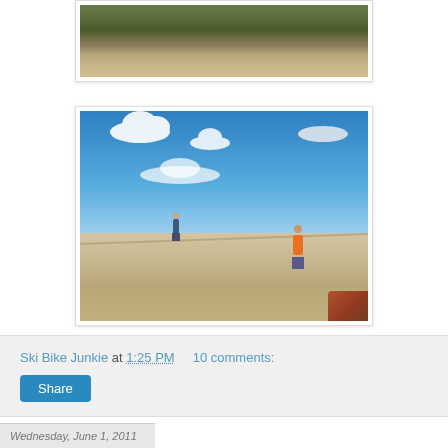[Figure (photo): Partial photo of rocky desert terrain with sandy ground and sparse dry brush/vegetation, top portion visible]
[Figure (photo): Two hikers climbing a large sandstone rock dome under a bright blue sky with scattered white clouds; red rock formations visible at right edge]
Ski Bike Junkie at 1:25 PM   10 comments:
Share
Wednesday, June 1, 2011